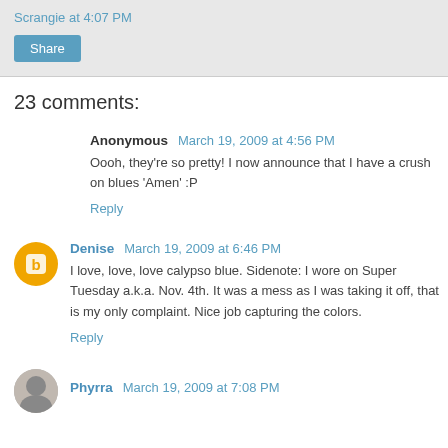Scrangie at 4:07 PM
23 comments:
Anonymous March 19, 2009 at 4:56 PM
Oooh, they're so pretty! I now announce that I have a crush on blues 'Amen' :P
Reply
Denise March 19, 2009 at 6:46 PM
I love, love, love calypso blue. Sidenote: I wore on Super Tuesday a.k.a. Nov. 4th. It was a mess as I was taking it off, that is my only complaint. Nice job capturing the colors.
Reply
Phyrra March 19, 2009 at 7:08 PM